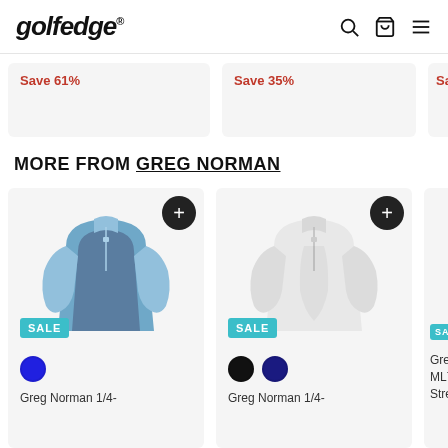golfedge® [search] [cart] [menu]
Save 61%
Save 35%
Save 6…
MORE FROM GREG NORMAN
[Figure (photo): Greg Norman 1/4-zip pullover in blue/light blue colorblock with SALE badge and blue color swatch]
Greg Norman 1/4-
[Figure (photo): Greg Norman 1/4-zip pullover in white with SALE badge, black and navy color swatches]
Greg Norman 1/4-
[Figure (photo): Partial product card showing SALE badge and text: Greg ML75 Stretc…]